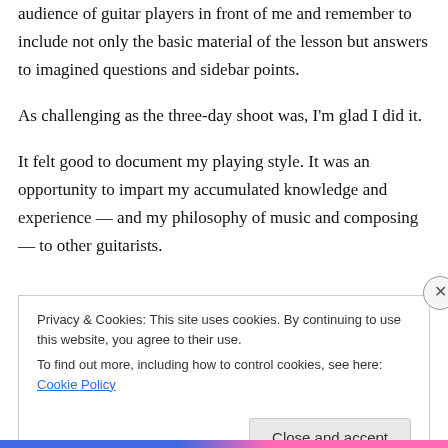audience of guitar players in front of me and remember to include not only the basic material of the lesson but answers to imagined questions and sidebar points.
As challenging as the three-day shoot was, I'm glad I did it.
It felt good to document my playing style. It was an opportunity to impart my accumulated knowledge and experience — and my philosophy of music and composing — to other guitarists.
Privacy & Cookies: This site uses cookies. By continuing to use this website, you agree to their use.
To find out more, including how to control cookies, see here: Cookie Policy